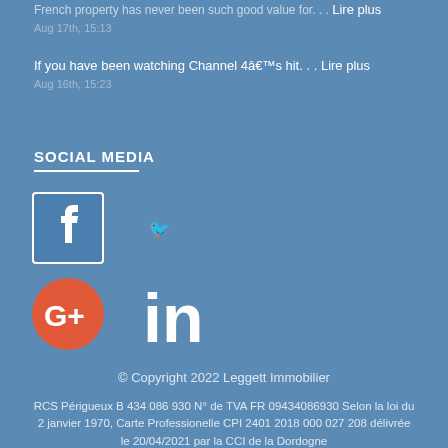French property has never been such good value for... Lire plus
Aug 17th, 15:13
If you have been watching Channel 4â€™s hit... Lire plus
Aug 16th, 15:23
SOCIAL MEDIA
[Figure (logo): Facebook icon square blue with white F]
[Figure (logo): Twitter bird icon placeholder]
[Figure (logo): Google+ circular orange icon with G+]
[Figure (logo): LinkedIn icon with 'in' text white on blue]
© Copyright 2022 Leggett Immobilier
RCS Périgueux B 434 086 930 N° de TVA FR 09434086930 Selon la loi du 2 janvier 1970, Carte Professionelle CPI 2401 2018 000 027 208 délivrée le 20/04/2021 par la CCI de la Dordogne